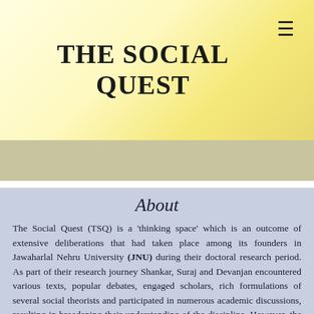THE SOCIAL QUEST
About
The Social Quest (TSQ) is a 'thinking space' which is an outcome of extensive deliberations that had taken place among its founders in Jawaharlal Nehru University (JNU) during their doctoral research period. As part of their research journey Shankar, Suraj and Devanjan encountered various texts, popular debates, engaged scholars, rich formulations of several social theorists and participated in numerous academic discussions, resulting in broadening their understanding of the discipline. However, the founders know